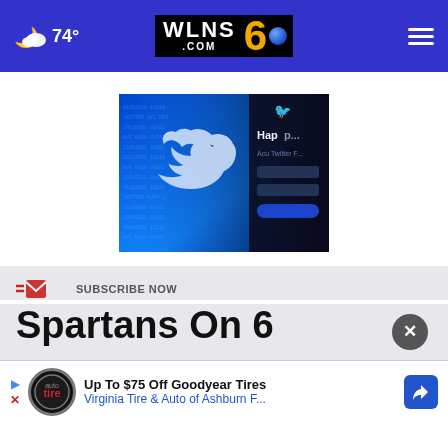74° WLNS.COM 6
[Figure (photo): Twitter/X app logo on a blue digital background with a smartphone screen visible on the right showing a Twitter interface]
SUBSCRIBE NOW
Spartans On 6
[Figure (infographic): Advertisement: Up To $75 Off Goodyear Tires — Virginia Tire & Auto of Ashburn F... with Tire Auto logo and blue navigation icon]